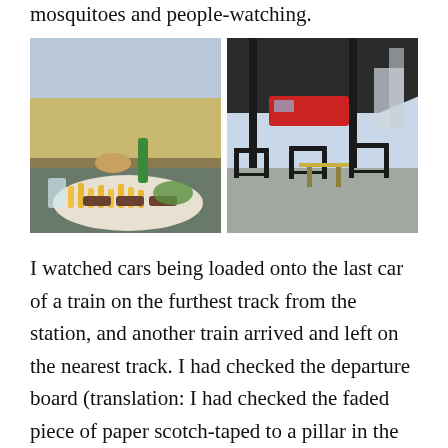mosquitoes and people-watching.
[Figure (photo): Left photo: a plate of food with french fries and grilled meat skewers, with drinks and a green bottle on an outdoor restaurant table. Right photo: an outdoor cafe/restaurant terrace with black metal chairs and tables, a train station canopy visible in the background with a red train.]
I watched cars being loaded onto the last car of a train on the furthest track from the station, and another train arrived and left on the nearest track. I had checked the departure board (translation: I had checked the faded piece of paper scotch-taped to a pillar in the station), so I knew my train was